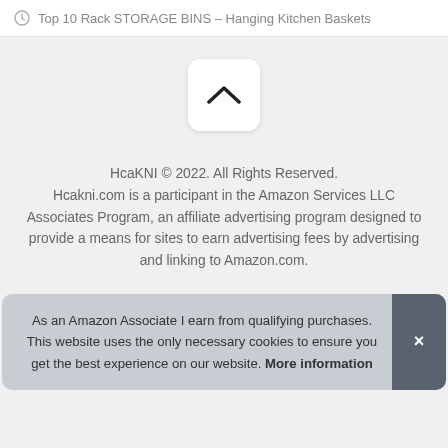Top 10 Rack STORAGE BINS – Hanging Kitchen Baskets
[Figure (other): Scroll-to-top button with chevron up icon]
HcaKNI © 2022. All Rights Reserved. Hcakni.com is a participant in the Amazon Services LLC Associates Program, an affiliate advertising program designed to provide a means for sites to earn advertising fees by advertising and linking to Amazon.com.
As an Amazon Associate I earn from qualifying purchases. This website uses the only necessary cookies to ensure you get the best experience on our website. More information